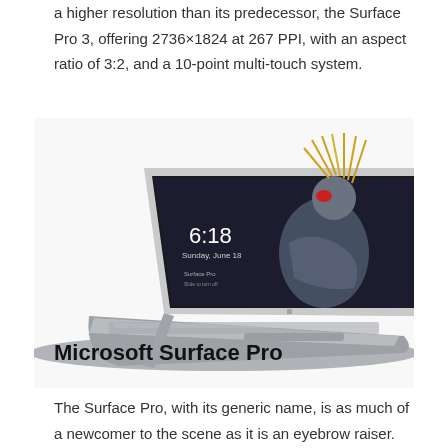a higher resolution than its predecessor, the Surface Pro 3, offering 2736×1824 at 267 PPI, with an aspect ratio of 3:2, and a 10-point multi-touch system.
[Figure (photo): Microsoft Surface Pro tablet with kickstand and keyboard cover attached, showing a bird (crowned crane) on the lock screen displaying 6:18 Sunday June 18]
Microsoft Surface Pro
The Surface Pro, with its generic name, is as much of a newcomer to the scene as it is an eyebrow raiser. On the surface (no pun intended)